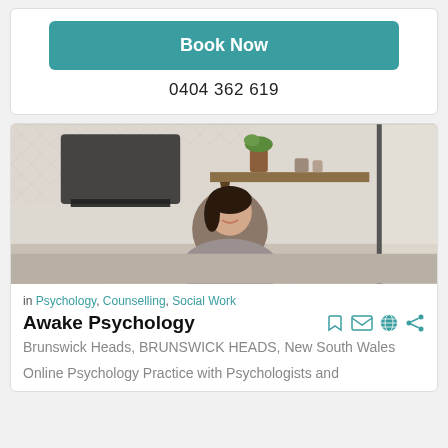Book Now
0404 362 619
[Figure (photo): Photo of a woman smiling in a kitchen with herringbone tile backsplash and wooden shelf with plants]
in Psychology, Counselling, Social Work
Awake Psychology
Brunswick Heads, BRUNSWICK HEADS, New South Wales
Online Psychology Practice with Psychologists and